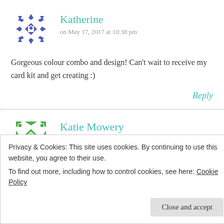[Figure (illustration): Blue snowflake/diamond pattern avatar for Katherine]
Katherine
on May 17, 2017 at 10:38 pm
Gorgeous colour combo and design! Can't wait to receive my card kit and get creating :)
Reply
[Figure (illustration): Green snowflake/diamond pattern avatar for Katie Mowery]
Katie Mowery
on May 17, 2017 at 10:58 pm
Privacy & Cookies: This site uses cookies. By continuing to use this website, you agree to their use.
To find out more, including how to control cookies, see here: Cookie Policy
Close and accept